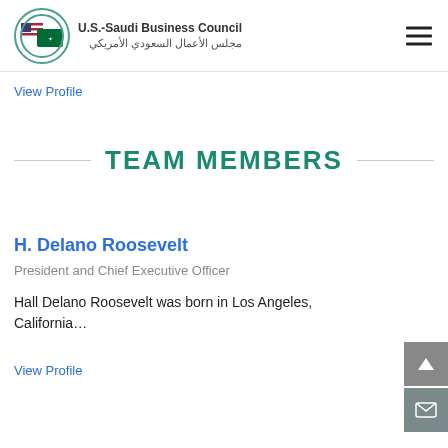U.S.-Saudi Business Council / مجلس الأعمال السعودي الأمريكي
View Profile
TEAM MEMBERS
H. Delano Roosevelt
President and Chief Executive Officer
Hall Delano Roosevelt was born in Los Angeles, California...
View Profile